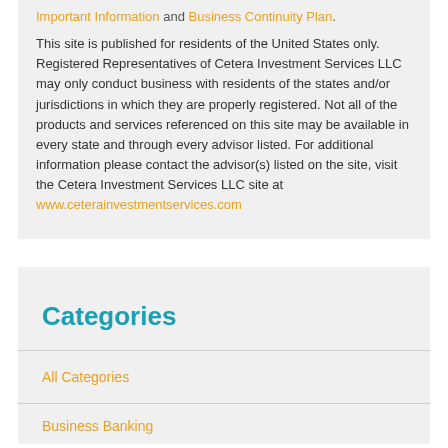Important Information and Business Continuity Plan.
This site is published for residents of the United States only. Registered Representatives of Cetera Investment Services LLC may only conduct business with residents of the states and/or jurisdictions in which they are properly registered. Not all of the products and services referenced on this site may be available in every state and through every advisor listed. For additional information please contact the advisor(s) listed on the site, visit the Cetera Investment Services LLC site at www.ceterainvestmentservices.com
Categories
All Categories
Business Banking